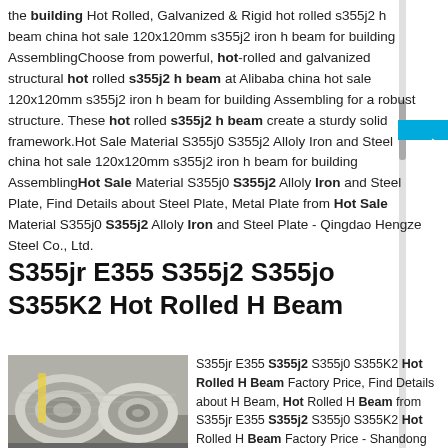the building Hot Rolled, Galvanized & Rigid hot rolled s355j2 h beam china hot sale 120x120mm s355j2 iron h beam for building AssemblingChoose from powerful, hot-rolled and galvanized structural hot rolled s355j2 h beam at Alibaba china hot sale 120x120mm s355j2 iron h beam for building Assembling for a robust structure. These hot rolled s355j2 h beam create a sturdy solid framework.Hot Sale Material S355j0 S355j2 Alloly Iron and Steel china hot sale 120x120mm s355j2 iron h beam for building AssemblingHot Sale Material S355j0 S355j2 Alloly Iron and Steel Plate, Find Details about Steel Plate, Metal Plate from Hot Sale Material S355j0 S355j2 Alloly Iron and Steel Plate - Qingdao Hengze Steel Co., Ltd.
S355jr E355 S355j2 S355jo S355K2 Hot Rolled H Beam
S355jr E355 S355j2 S355j0 S355K2 Hot Rolled H Beam Factory Price, Find Details about H Beam, Hot Rolled H Beam from S355jr E355 S355j2 S355j0 S355K2 Hot Rolled H Beam Factory Price - Shandong Zayi Steel Co...
[Figure (photo): Photo of coiled steel strips/rolls stacked together, silvery metallic appearance]